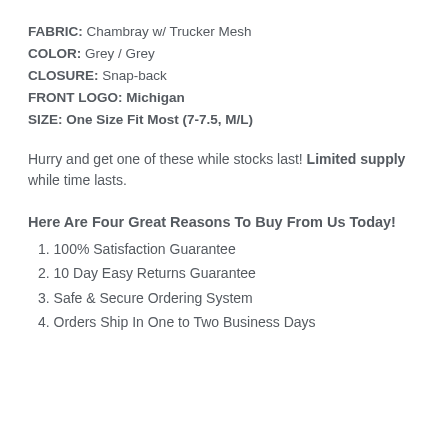FABRIC: Chambray w/ Trucker Mesh
COLOR: Grey / Grey
CLOSURE: Snap-back
FRONT LOGO: Michigan
SIZE: One Size Fit Most (7-7.5, M/L)
Hurry and get one of these while stocks last! Limited supply while time lasts.
Here Are Four Great Reasons To Buy From Us Today!
1. 100% Satisfaction Guarantee
2. 10 Day Easy Returns Guarantee
3. Safe & Secure Ordering System
4. Orders Ship In One to Two Business Days